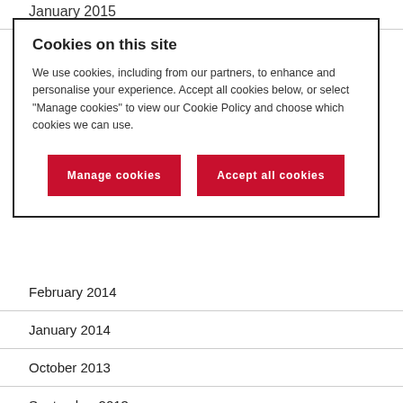January 2015
October 2014
Cookies on this site
We use cookies, including from our partners, to enhance and personalise your experience. Accept all cookies below, or select "Manage cookies" to view our Cookie Policy and choose which cookies we can use.
February 2014
January 2014
October 2013
September 2013
August 2013